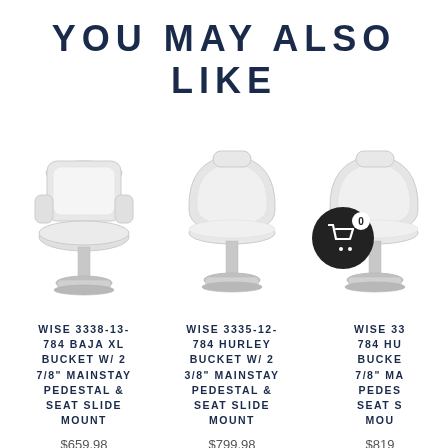YOU MAY ALSO LIKE
[Figure (photo): White marine bucket seat chair with chrome pedestal base - Wise 3338-13-784 Baja XL]
WISE 3338-13-784 BAJA XL BUCKET W/ 2 7/8" MAINSTAY PEDESTAL & SEAT SLIDE MOUNT
$659.98
[Figure (photo): White marine round bucket seat chair with chrome pedestal base - Wise 3335-12-784 Hurley]
WISE 3335-12-784 HURLEY BUCKET W/ 2 3/8" MAINSTAY PEDESTAL & SEAT SLIDE MOUNT
$799.98
[Figure (photo): Partially visible white marine bucket seat chair with chrome pedestal base and shopping cart overlay - Wise 33xx-784]
WISE 33... 784 HU... BUCKET... 7/8" MA... PEDES... SEAT S... MOUN...
$819...